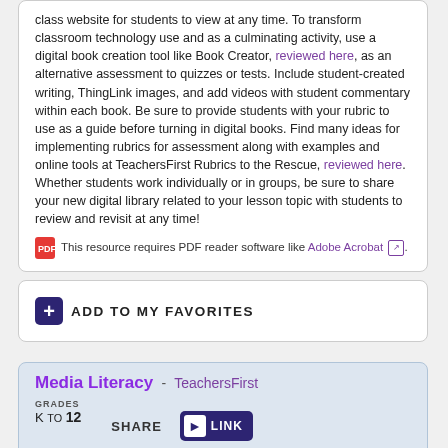class website for students to view at any time. To transform classroom technology use and as a culminating activity, use a digital book creation tool like Book Creator, reviewed here, as an alternative assessment to quizzes or tests. Include student-created writing, ThingLink images, and add videos with student commentary within each book. Be sure to provide students with your rubric to use as a guide before turning in digital books. Find many ideas for implementing rubrics for assessment along with examples and online tools at TeachersFirst Rubrics to the Rescue, reviewed here. Whether students work individually or in groups, be sure to share your new digital library related to your lesson topic with students to review and revisit at any time!
This resource requires PDF reader software like Adobe Acrobat.
ADD TO MY FAVORITES
Media Literacy - TeachersFirst
GRADES K TO 12
SHARE
LINK
Peruse this curated list to find resources related to media literacy. Media literacy is a set of skills that help people to analyze, evaluate, and create messages in a wide variety of media modes, genres, and formats. To become media literate, students must learn to raise the right questions about what they